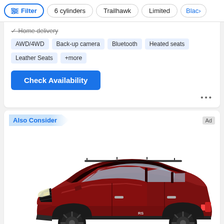Filter | 6 cylinders | Trailhawk | Limited | Blac>
Home delivery
AWD/4WD
Back-up camera
Bluetooth
Heated seats
Leather Seats
+more
Check Availability
Also Consider
Ad
[Figure (photo): Red Chevrolet Equinox SUV on white background, three-quarter front view, with black wheels and black roof rails]